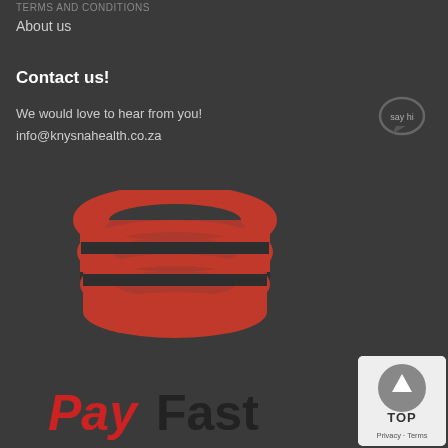TERMS AND CONDITIONS
About us
Contact us!
We would love to hear from you!
info@knysnahealth.co.za
[Figure (logo): Red stacked coins/discs logo (Knysna Health logo)]
[Figure (logo): PayFast payment logo in red and black text]
[Figure (other): TOP scroll-to-top button with arrow icon, Privacy and Terms links below]